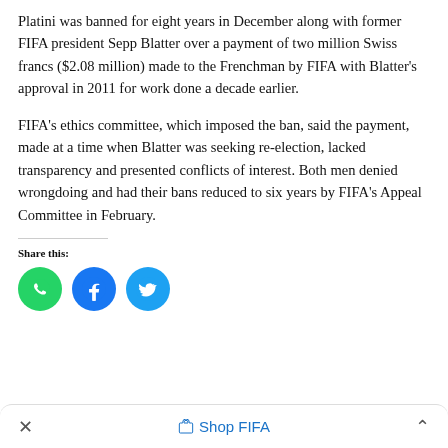Platini was banned for eight years in December along with former FIFA president Sepp Blatter over a payment of two million Swiss francs ($2.08 million) made to the Frenchman by FIFA with Blatter's approval in 2011 for work done a decade earlier.
FIFA's ethics committee, which imposed the ban, said the payment, made at a time when Blatter was seeking re-election, lacked transparency and presented conflicts of interest. Both men denied wrongdoing and had their bans reduced to six years by FIFA's Appeal Committee in February.
Share this:
[Figure (other): Three social share buttons: WhatsApp (green circle), Facebook (blue circle), Twitter (light blue circle)]
× Shop FIFA ∧